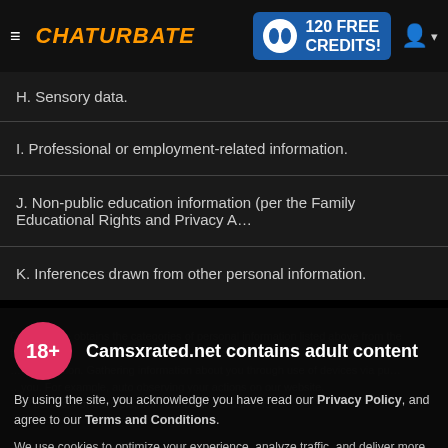Chaturbate — 120 FREE CREDITS!
| H. Sensory data. |
| I. Professional or employment-related information. |
| J. Non-public education information (per the Family Educational Rights and Privacy A… |
| K. Inferences drawn from other personal information. |
Our Website obtains the categories of personal information listed above from the following…
Camsxrated.net contains adult content
By using the site, you acknowledge you have read our Privacy Policy, and agree to our Terms and Conditions.
We use cookies to optimize your experience, analyze traffic, and deliver more personalized service. To learn more, please see our Privacy Policy.
I AGREE